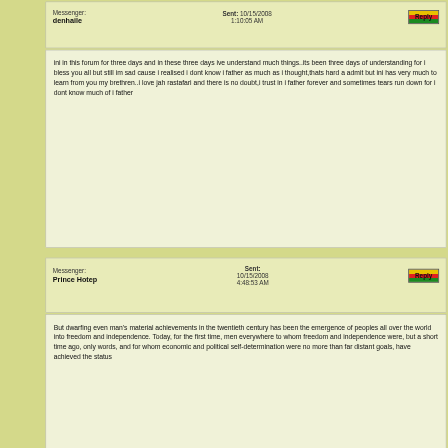Messenger: denhaile  Sent: 10/15/2008 1:10:05 AM
ini in this forum for three days and in these three days ive understand much things..its been three days of understanding for i bless you all but still im sad cause i realised i dont know i father as much as i thought,thats hard a admit but ini has very much to learn from you my brethren..i love jah rastafari and there is no doubt,i trust in i father forever and sometimes tears run down for i dont know much of i father
Messenger: Prince Hotep  Sent: 10/15/2008 4:48:53 AM
But dwarfing even man's material achievements in the twentieth century has been the emergence of peoples all over the world into freedom and independence. Today, for the first time, men everywhere to whom freedom and independence were, but a short time ago, only words, and for whom economic and political self-determination were no more than far distant goals, have achieved the status